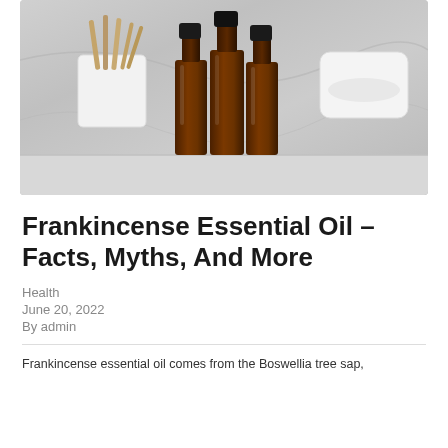[Figure (photo): Three amber essential oil bottles with black caps arranged on a white marble surface, with a white cup holding wooden sticks on the left and a white bowl on the right.]
Frankincense Essential Oil – Facts, Myths, And More
Health
June 20, 2022
By admin
Frankincense essential oil comes from the Boswellia tree sap,